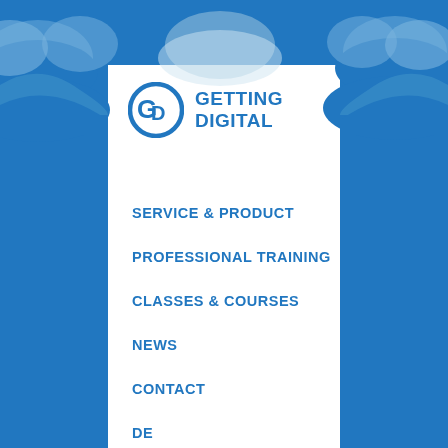[Figure (logo): Getting Digital logo: blue circular G/D icon with bold blue text 'GETTING DIGITAL']
SERVICE & PRODUCT
PROFESSIONAL TRAINING
CLASSES & COURSES
NEWS
CONTACT
DE